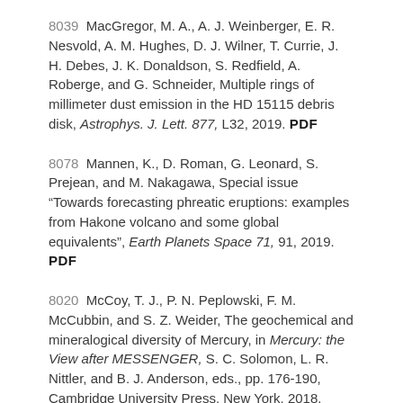8039  MacGregor, M. A., A. J. Weinberger, E. R. Nesvold, A. M. Hughes, D. J. Wilner, T. Currie, J. H. Debes, J. K. Donaldson, S. Redfield, A. Roberge, and G. Schneider, Multiple rings of millimeter dust emission in the HD 15115 debris disk, Astrophys. J. Lett. 877, L32, 2019. PDF
8078  Mannen, K., D. Roman, G. Leonard, S. Prejean, and M. Nakagawa, Special issue "Towards forecasting phreatic eruptions: examples from Hakone volcano and some global equivalents", Earth Planets Space 71, 91, 2019. PDF
8020  McCoy, T. J., P. N. Peplowski, F. M. McCubbin, and S. Z. Weider, The geochemical and mineralogical diversity of Mercury, in Mercury: the View after MESSENGER, S. C. Solomon, L. R. Nittler, and B. J. Anderson, eds., pp. 176-190, Cambridge University Press, New York, 2018.
8084  Mikhail, S., F. M. McCubbin, F. E. Jenner, S. B. Shirey, D. Rumble, and R. Bowden, Diamondites: evidence for a...